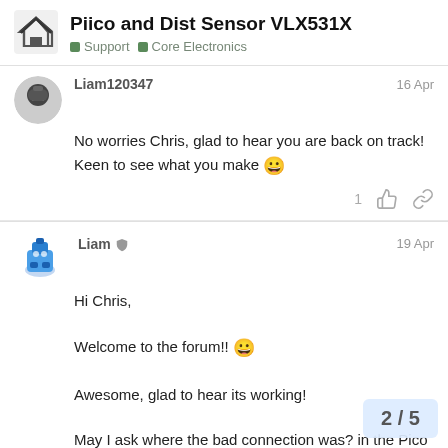Piico and Dist Sensor VLX531X — Support › Core Electronics
Liam120347 — 16 Apr
No worries Chris, glad to hear you are back on track!
Keen to see what you make 😀
Liam 🛡 — 19 Apr
Hi Chris,

Welcome to the forum!! 😀

Awesome, glad to hear its working!

May I ask where the bad connection was? in the Pico board, in a cable or on the sensor?
2 / 5